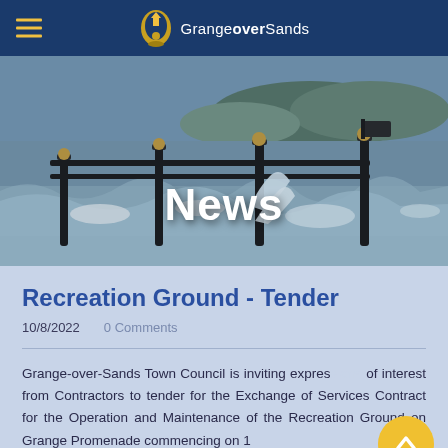GrangeoverSands
[Figure (photo): Coastal scene with rough waves crashing against black iron railings on a promenade, hills visible in the background under a grey sky. Overlaid with bold white text 'News'.]
Recreation Ground - Tender
10/8/2022   0 Comments
Grange-over-Sands Town Council is inviting expressions of interest from Contractors to tender for the Exchange of Services Contract for the Operation and Maintenance of the Recreation Ground on Grange Promenade commencing on 1